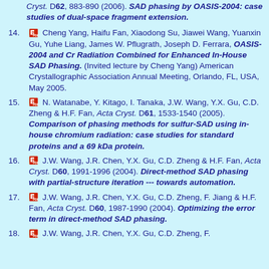Cryst. D62, 883-890 (2006). SAD phasing by OASIS-2004: case studies of dual-space fragment extension.
14. Cheng Yang, Haifu Fan, Xiaodong Su, Jiawei Wang, Yuanxin Gu, Yuhe Liang, James W. Pflugrath, Joseph D. Ferrara, OASIS-2004 and Cr Radiation Combined for Enhanced In-House SAD Phasing. (Invited lecture by Cheng Yang) American Crystallographic Association Annual Meeting, Orlando, FL, USA, May 2005.
15. N. Watanabe, Y. Kitago, I. Tanaka, J.W. Wang, Y.X. Gu, C.D. Zheng & H.F. Fan, Acta Cryst. D61, 1533-1540 (2005). Comparison of phasing methods for sulfur-SAD using in-house chromium radiation: case studies for standard proteins and a 69 kDa protein.
16. J.W. Wang, J.R. Chen, Y.X. Gu, C.D. Zheng & H.F. Fan, Acta Cryst. D60, 1991-1996 (2004). Direct-method SAD phasing with partial-structure iteration --- towards automation.
17. J.W. Wang, J.R. Chen, Y.X. Gu, C.D. Zheng, F. Jiang & H.F. Fan, Acta Cryst. D60, 1987-1990 (2004). Optimizing the error term in direct-method SAD phasing.
18. J.W. Wang, J.R. Chen, Y.X. Gu, C.D. Zheng, F. ...